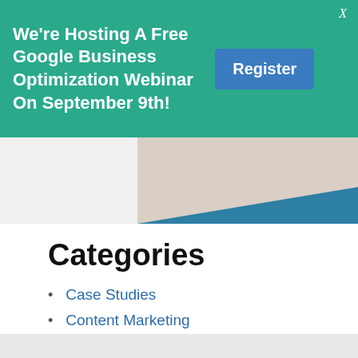We're Hosting A Free Google Business Optimization Webinar On September 9th!
[Figure (photo): Partial view of a person working at a desk with teal accent at bottom]
Categories
Case Studies
Content Marketing
Practice Advice
SEO Advice
Uncategorized